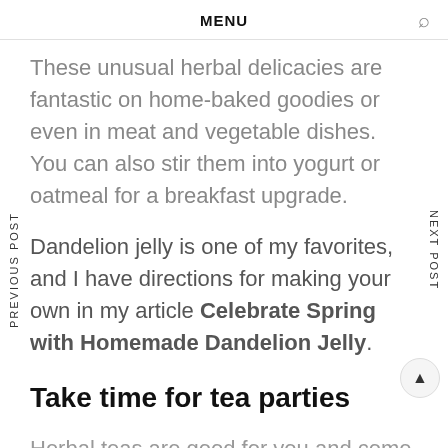MENU
These unusual herbal delicacies are fantastic on home-baked goodies or even in meat and vegetable dishes. You can also stir them into yogurt or oatmeal for a breakfast upgrade.
Dandelion jelly is one of my favorites, and I have directions for making your own in my article Celebrate Spring with Homemade Dandelion Jelly.
Take time for tea parties
Herbal teas are good for you and come in an astounding array of flavors and varieties. to take a thermos of herbal tea along on